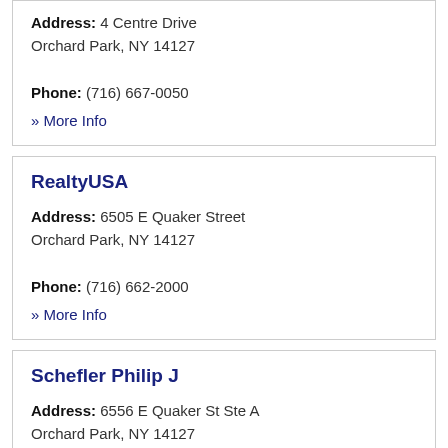Address: 4 Centre Drive Orchard Park, NY 14127 Phone: (716) 667-0050
» More Info
RealtyUSA
Address: 6505 E Quaker Street Orchard Park, NY 14127 Phone: (716) 662-2000
» More Info
Schefler Philip J
Address: 6556 E Quaker St Ste A Orchard Park, NY 14127